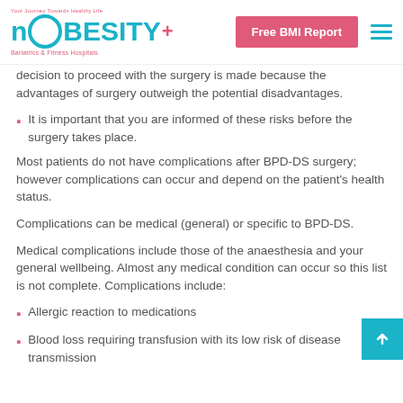NOBESITY+ Bariatrics & Fitness Hospitals | Free BMI Report
decision to proceed with the surgery is made because the advantages of surgery outweigh the potential disadvantages.
It is important that you are informed of these risks before the surgery takes place.
Most patients do not have complications after BPD-DS surgery; however complications can occur and depend on the patient's health status.
Complications can be medical (general) or specific to BPD-DS.
Medical complications include those of the anaesthesia and your general wellbeing. Almost any medical condition can occur so this list is not complete. Complications include:
Allergic reaction to medications
Blood loss requiring transfusion with its low risk of disease transmission